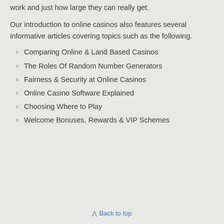work and just how large they can really get.
Our introduction to online casinos also features several informative articles covering topics such as the following.
Comparing Online & Land Based Casinos
The Roles Of Random Number Generators
Fairness & Security at Online Casinos
Online Casino Software Explained
Choosing Where to Play
Welcome Bonuses, Rewards & VIP Schemes
Back to top